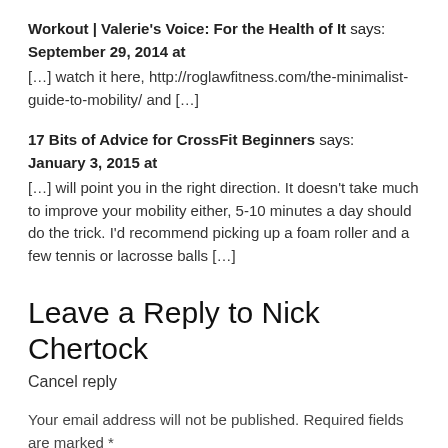Workout | Valerie's Voice: For the Health of It says:
September 29, 2014 at
[...] watch it here, http://roglawfitness.com/the-minimalist-guide-to-mobility/ and [...]
17 Bits of Advice for CrossFit Beginners says:
January 3, 2015 at
[...] will point you in the right direction. It doesn't take much to improve your mobility either, 5-10 minutes a day should do the trick. I'd recommend picking up a foam roller and a few tennis or lacrosse balls [...]
Leave a Reply to Nick Chertock
Cancel reply
Your email address will not be published. Required fields are marked *